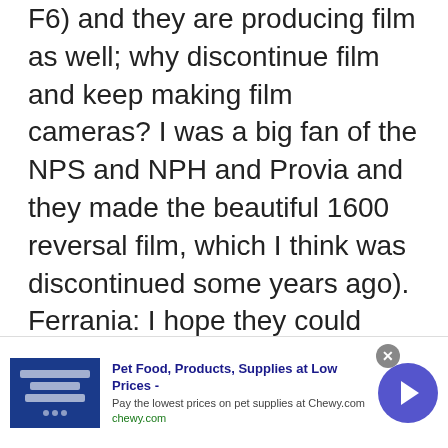F6) and they are producing film as well; why discontinue film and keep making film cameras? I was a big fan of the NPS and NPH and Provia and they made the beautiful 1600 reversal film, which I think was discontinued some years ago). Ferrania: I hope they could overcome their bad financial situation; the company is not so far from my hometown and itwas struggling to survive for some years now (they try to convert film and music tape
[Figure (other): Advertisement banner for Chewy.com - Pet Food, Products, Supplies at Low Prices. Shows blue brand image on left, ad text in center, and a circular arrow button on right. Close button (X) visible.]